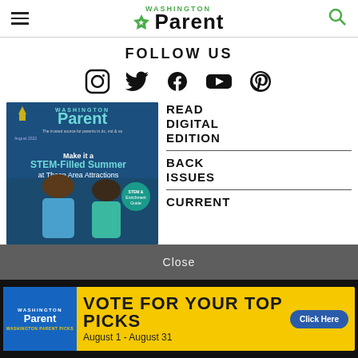Washington Parent
FOLLOW US
[Figure (infographic): Social media icons: Instagram, Twitter, Facebook, YouTube, Pinterest]
[Figure (photo): Washington Parent magazine cover - August 2022, Make it a STEM-Filled Summer at These Area Attractions]
READ DIGITAL EDITION
BACK ISSUES
CURRENT
Close
[Figure (infographic): Advertisement banner: Washington Parent - VOTE FOR YOUR TOP PICKS August 1 - August 31 Click Here]